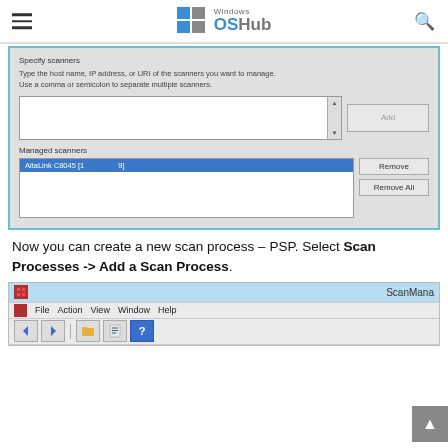Windows OSHub
[Figure (screenshot): Windows dialog box for Specify scanners with fields for entering host name/IP/URI, an Add button, Managed scanners section showing AltaLink C8045 [1...9] selected in blue, and Remove / Remove All buttons]
Now you can create a new scan process – PSP. Select Scan Processes -> Add a Scan Process.
[Figure (screenshot): ScanManager application window showing title bar with red icon, menu bar with File, Action, View, Window, Help, and toolbar with back/forward navigation arrows, folder icon, document icon, and help icon]